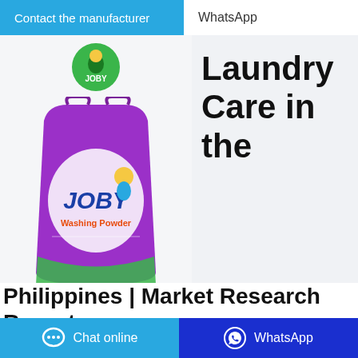Contact the manufacturer
WhatsApp
[Figure (photo): Joby Washing Powder product package in purple, with Joby logo]
Laundry Care in the
Philippines | Market Research Report
The Laundry Care in Philippines report includes [analysis] of key supply-side and demand trends. Detailed segmentation of international and local products. Historic
Chat online
WhatsApp